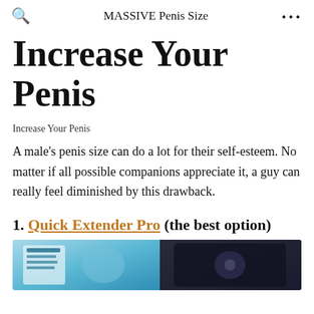MASSIVE Penis Size
Increase Your Penis
Increase Your Penis
A male's penis size can do a lot for their self-esteem. No matter if all possible companions appreciate it, a guy can really feel diminished by this drawback.
1. Quick Extender Pro (the best option)
[Figure (photo): Product image showing Quick Extender Pro device on blue background, next to a dark phone/device]